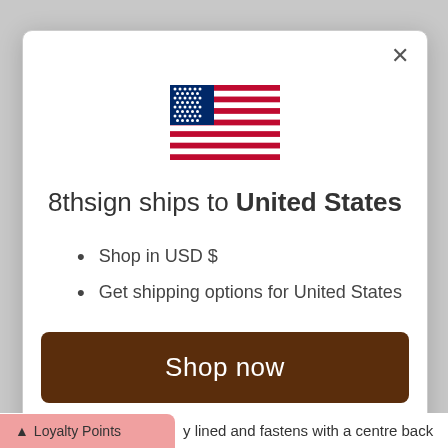[Figure (illustration): US flag emoji/icon centered at top of modal]
8thsign ships to United States
Shop in USD $
Get shipping options for United States
Shop now
Change shipping country
Loyalty Points
y lined and fastens with a centre back